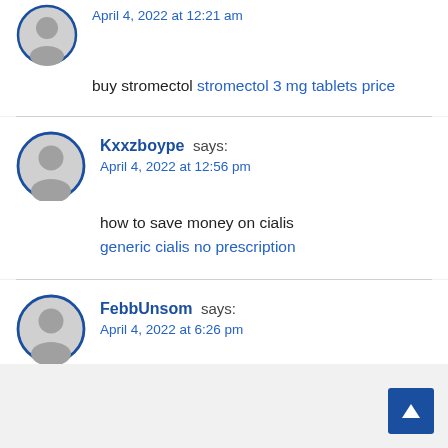April 4, 2022 at 12:21 am
buy stromectol stromectol 3 mg tablets price
Kxxzboype says:
April 4, 2022 at 12:56 pm
how to save money on cialis generic cialis no prescription
FebbUnsom says:
April 4, 2022 at 6:26 pm